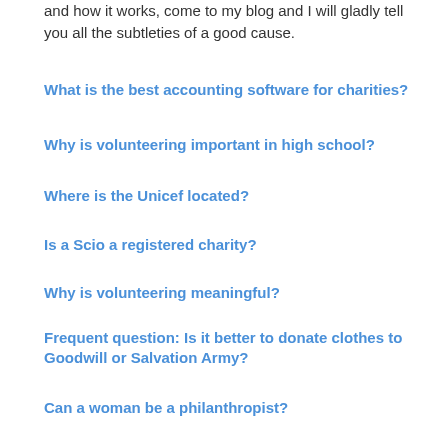and how it works, come to my blog and I will gladly tell you all the subtleties of a good cause.
What is the best accounting software for charities?
Why is volunteering important in high school?
Where is the Unicef located?
Is a Scio a registered charity?
Why is volunteering meaningful?
Frequent question: Is it better to donate clothes to Goodwill or Salvation Army?
Can a woman be a philanthropist?